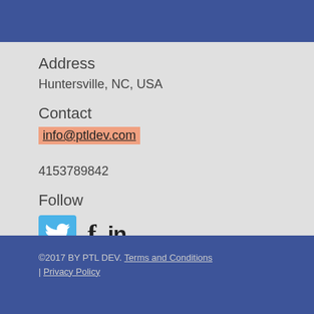Address
Huntersville, NC, USA
Contact
info@ptldev.com
4153789842
Follow
[Figure (illustration): Social media icons: Twitter (blue bird icon), Facebook (f), LinkedIn (in)]
©2017 BY PTL DEV. Terms and Conditions | Privacy Policy